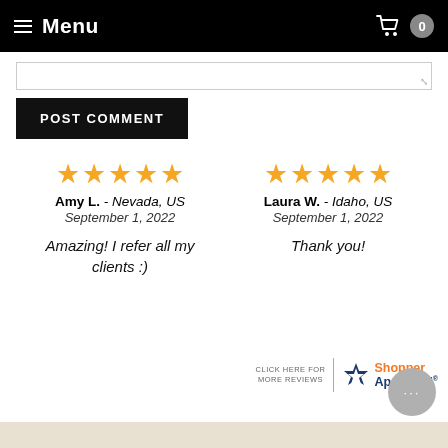Menu
POST COMMENT
[Figure (other): Five orange star rating for Amy L. - Nevada, US, September 1, 2022. Review text: Amazing! I refer all my clients :)]
[Figure (other): Five orange star rating for Laura W. - Idaho, US, September 1, 2022. Review text: Thank you!]
CLICK HERE FOR MORE REVIEWS | Shopper Approved